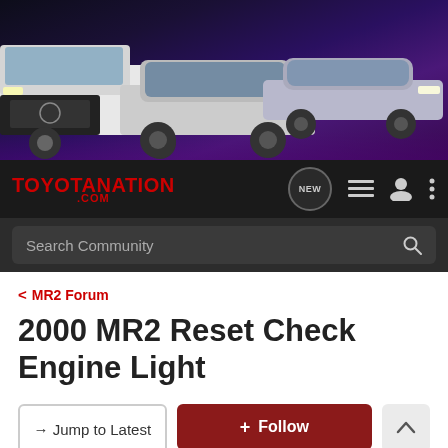[Figure (photo): Toyota banner advertisement showing three Toyota vehicles (truck, sedan, and sports car) against a dark purple/blue gradient background]
TOYOTANATION .COM
Search Community
< MR2 Forum
2000 MR2 Reset Check Engine Light
→ Jump to Latest
+ Follow
1 - 11 of 11 Posts